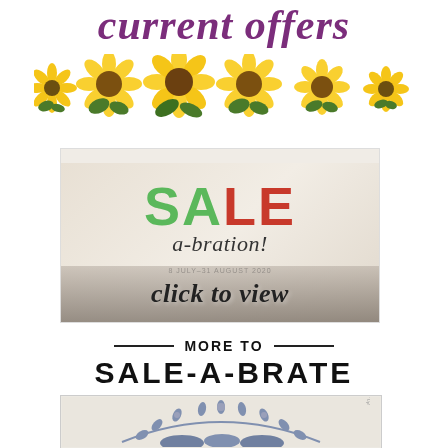current offers
[Figure (illustration): Row of watercolor sunflowers with green leaves used as a decorative banner divider]
[Figure (illustration): Sale-a-bration promotional image with 'SALE' in large green and red letters, 'a-bration!' in italic below, small date text '8 JULY-31 AUGUST 2020', and a 'click to view' script overlay on a gray/brown craft-themed banner at bottom]
MORE TO SALE-A-BRATE
[Figure (illustration): Gray floral/leaf wreath stamp design on cream background, Stampin' Up! product promotional image]